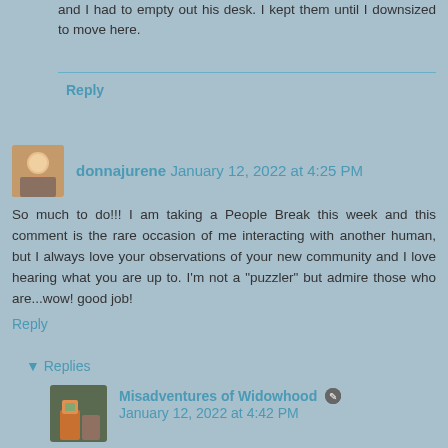and I had to empty out his desk. I kept them until I downsized to move here.
Reply
donnajurene January 12, 2022 at 4:25 PM
So much to do!!! I am taking a People Break this week and this comment is the rare occasion of me interacting with another human, but I always love your observations of your new community and I love hearing what you are up to. I'm not a "puzzler" but admire those who are...wow! good job!
Reply
▾ Replies
Misadventures of Widowhood January 12, 2022 at 4:42 PM
I just bought a new puzzle off Amazon that is rated really hard. in the description it says doing puzzles is a form of meditation and I can see